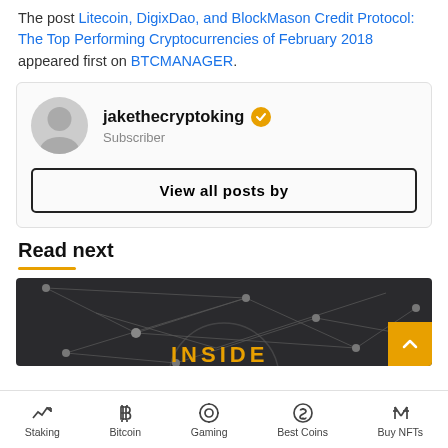The post Litecoin, DigixDao, and BlockMason Credit Protocol: The Top Performing Cryptocurrencies of February 2018 appeared first on BTCMANAGER.
jakethecryptoking — Subscriber
View all posts by
Read next
[Figure (photo): Dark network/blockchain background image with 'INSIDE' text in orange at the bottom]
Staking | Bitcoin | Gaming | Best Coins | Buy NFTs